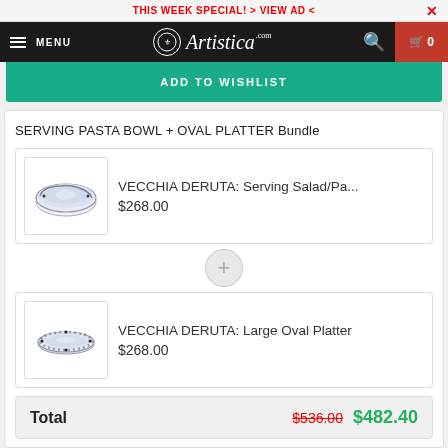THIS WEEK SPECIAL! > VIEW AD <
[Figure (logo): Artistica.com logo with decorative circular emblem on dark navbar]
ADD TO WISHLIST
SERVING PASTA BOWL + OVAL PLATTER Bundle
VECCHIA DERUTA: Serving Salad/Pa...
$268.00
VECCHIA DERUTA: Large Oval Platter
$268.00
Total   $536.00   $482.40